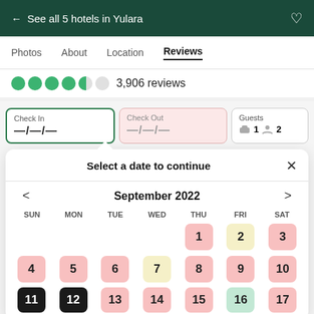← See all 5 hotels in Yulara
Photos  About  Location  Reviews
●●●●○ 3,906 reviews
Check In —/—/—  Check Out —/—/—  Guests 🛏 1 👤 2
Select a date to continue
September 2022
| SUN | MON | TUE | WED | THU | FRI | SAT |
| --- | --- | --- | --- | --- | --- | --- |
|  |  |  |  | 1 | 2 | 3 |
| 4 | 5 | 6 | 7 | 8 | 9 | 10 |
| 11 | 12 | 13 | 14 | 15 | 16 | 17 |